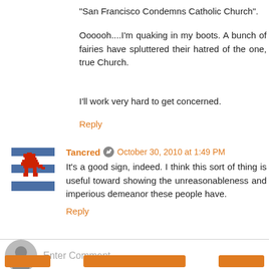"San Francisco Condemns Catholic Church".
Oooooh....I'm quaking in my boots. A bunch of fairies have spluttered their hatred of the one, true Church.
I'll work very hard to get concerned.
Reply
Tancred  October 30, 2010 at 1:49 PM
It's a good sign, indeed. I think this sort of thing is useful toward showing the unreasonableness and imperious demeanor these people have.
Reply
Enter Comment